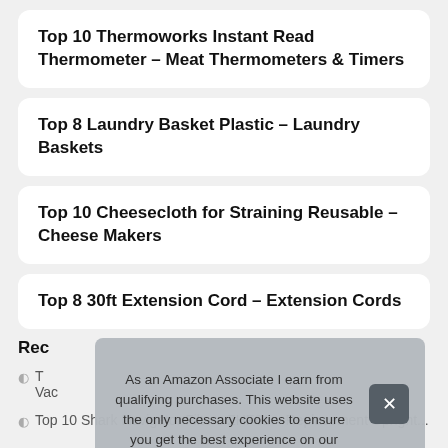Top 10 Thermoworks Instant Read Thermometer – Meat Thermometers & Timers
Top 8 Laundry Basket Plastic – Laundry Baskets
Top 10 Cheesecloth for Straining Reusable – Cheese Makers
Top 8 30ft Extension Cord – Extension Cords
Rec
T... Vac...
Top 10 Shark Navigator Filters ZHF61 – Replacement Upright...
As an Amazon Associate I earn from qualifying purchases. This website uses the only necessary cookies to ensure you get the best experience on our website. More information